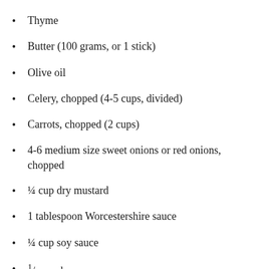Thyme
Butter (100 grams, or 1 stick)
Olive oil
Celery, chopped (4-5 cups, divided)
Carrots, chopped (2 cups)
4-6 medium size sweet onions or red onions, chopped
¼ cup dry mustard
1 tablespoon Worcestershire sauce
¼ cup soy sauce
1/3 cup honey